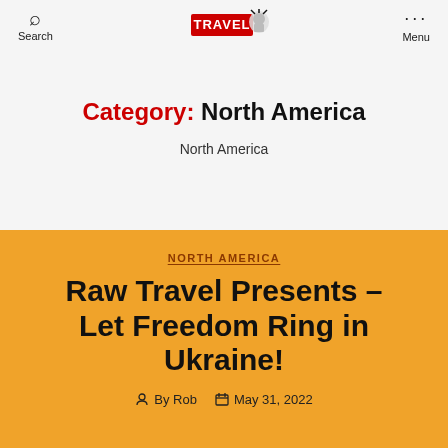Search   TRAVEL   Menu
Category: North America
North America
NORTH AMERICA
Raw Travel Presents – Let Freedom Ring in Ukraine!
By Rob   May 31, 2022